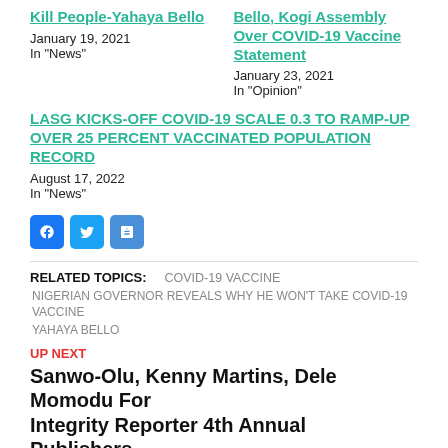Kill People-Yahaya Bello
January 19, 2021
In "News"
Bello, Kogi Assembly Over COVID-19 Vaccine Statement
January 23, 2021
In "Opinion"
LASG KICKS-OFF COVID-19 SCALE 0.3 TO RAMP-UP OVER 25 PERCENT VACCINATED POPULATION RECORD
August 17, 2022
In "News"
[Figure (infographic): Social sharing icons: Facebook (blue), Twitter (blue), Share (blue)]
RELATED TOPICS:    COVID-19 VACCINE
NIGERIAN GOVERNOR REVEALS WHY HE WON'T TAKE COVID-19 VACCINE
YAHAYA BELLO
UP NEXT
Sanwo-Olu, Kenny Martins, Dele Momodu For Integrity Reporter 4th Annual Publishers...